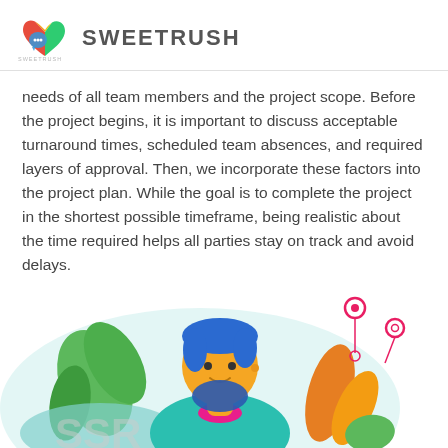SWEETRUSH
needs of all team members and the project scope. Before the project begins, it is important to discuss acceptable turnaround times, scheduled team absences, and required layers of approval. Then, we incorporate these factors into the project plan. While the goal is to complete the project in the shortest possible timeframe, being realistic about the time required helps all parties stay on track and avoid delays.
[Figure (illustration): Colorful flat-style illustration of a man with blue hair and beard wearing a teal shirt, surrounded by green and orange foliage shapes, with pink circular marker icons on the right side.]